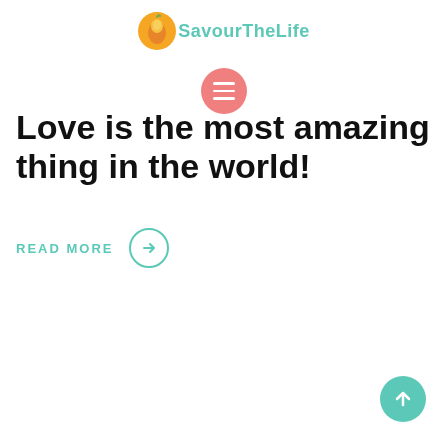SavourTheLife
[Figure (logo): Orange circle logo with SavourTheLife text in teal]
[Figure (infographic): Pink circular menu button with three white horizontal lines]
Love is the most amazing thing in the world!
READ MORE →